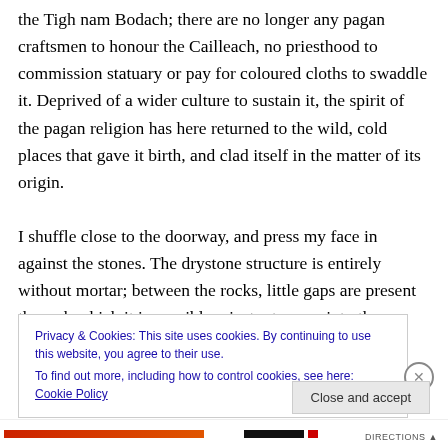the Tigh nam Bodach; there are no longer any pagan craftsmen to honour the Cailleach, no priesthood to commission statuary or pay for coloured cloths to swaddle it. Deprived of a wider culture to sustain it, the spirit of the pagan religion has here returned to the wild, cold places that gave it birth, and clad itself in the matter of its origin.

I shuffle close to the doorway, and press my face in against the stones. The drystone structure is entirely without mortar; between the rocks, little gaps are present through which it is possible – just – to gaze into the
Privacy & Cookies: This site uses cookies. By continuing to use this website, you agree to their use.
To find out more, including how to control cookies, see here: Cookie Policy
Close and accept